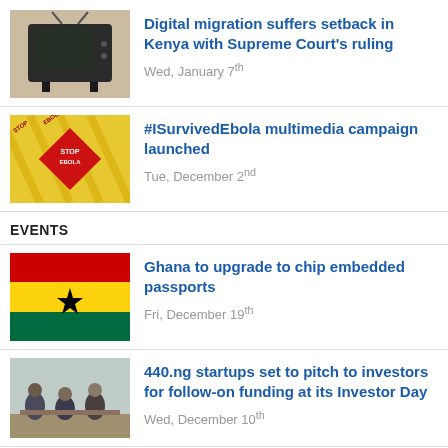[Figure (photo): Thumbnail of an old CRT television set]
Digital migration suffers setback in Kenya with Supreme Court's ruling
Wed, January 7th
[Figure (photo): Thumbnail with yellow Ebola warning tape and a red diamond sign]
#ISurvivedEbola multimedia campaign launched
Tue, December 2nd
EVENTS
[Figure (photo): Ghana national flag — red, gold, green horizontal stripes with black star]
Ghana to upgrade to chip embedded passports
Fri, December 19th
[Figure (photo): Photo of people sitting in a room, startup event]
440.ng startups set to pitch to investors for follow-on funding at its Investor Day
Wed, December 10th
FEATURES
[Figure (illustration): 4G wireless signal tower icon]
Price a hindering factor to 4G uptake in Rwanda – retailers